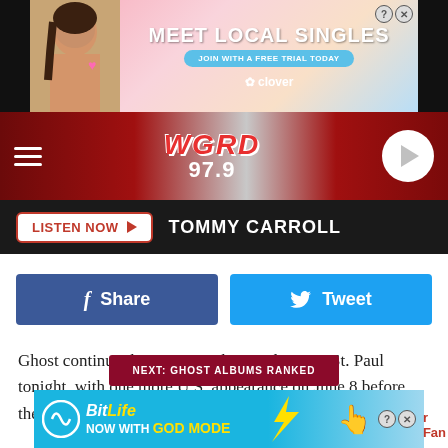[Figure (screenshot): Advertisement banner: MEET LOCAL SINGLES with woman photo and Clover branding]
[Figure (logo): WGRD 97.9 radio station logo in navigation bar with hamburger menu and play button]
LISTEN NOW ▶  TOMMY CARROLL
[Figure (infographic): Facebook Share button (dark blue) and Twitter Tweet button (light blue)]
Ghost continue their Rats on the Road tour in St. Paul tonight, with one more U.S. appearance on June 8 before they travel to Europe for a series of festival shows.
NEXT: GHOST ALBUMS RANKED
[Figure (screenshot): BitLife advertisement: NOW WITH GOD MODE]